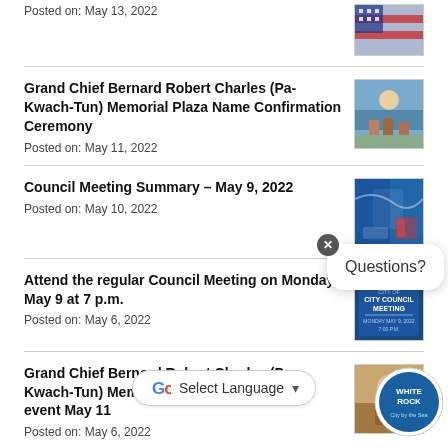Posted on: May 13, 2022
[Figure (photo): Flag or patriotic image thumbnail]
Grand Chief Bernard Robert Charles (Pa-Kwach-Tun) Memorial Plaza Name Confirmation Ceremony
Posted on: May 11, 2022
[Figure (photo): Group of people at ceremony thumbnail]
Council Meeting Summary – May 9, 2022
Posted on: May 10, 2022
[Figure (photo): Blue abstract/city image thumbnail]
Attend the regular Council Meeting on Monday, May 9 at 7 p.m.
Posted on: May 6, 2022
[Figure (photo): City Council Meeting sign thumbnail]
Grand Chief Bernard Robert Charles (Pa-Kwach-Tun) Memorial Plaza official naming event May 11
Posted on: May 6, 2022
[Figure (photo): White Rock City by the Sea badge]
Questions?
Select Language
Support White Rock in the Mayors' Food Bank Challenge